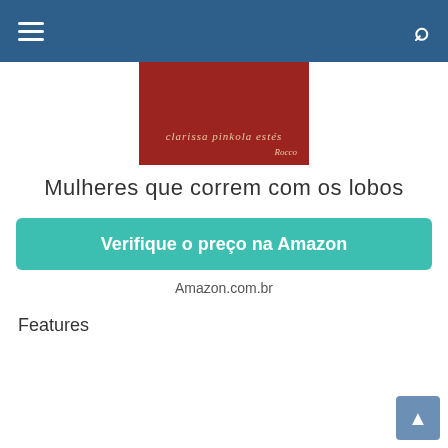Navigation header with hamburger menu and search icon
[Figure (photo): Book cover of 'Mulheres que correm com os lobos' by Clarissa Pinkola Estés, dark red cover with author name in italic gold lettering]
Mulheres que correm com os lobos
Verifique o preço na Amazon
Amazon.com.br
Features
|  |  |
| --- | --- |
| Part Number | uocl08iaab-5896 |
| Color | Grey |
| Release Date | 2018-09-17T00:00:01Z |
| Edition | 1ª |